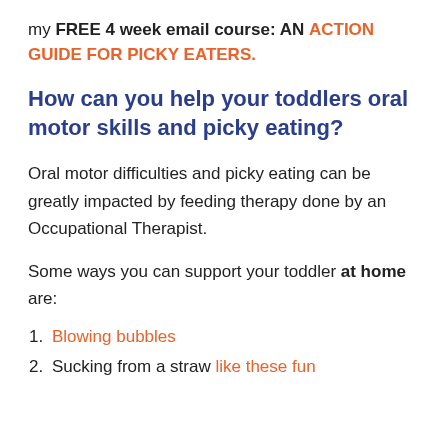my FREE 4 week email course: AN ACTION GUIDE FOR PICKY EATERS.
How can you help your toddlers oral motor skills and picky eating?
Oral motor difficulties and picky eating can be greatly impacted by feeding therapy done by an Occupational Therapist.
Some ways you can support your toddler at home are:
Blowing bubbles
Sucking from a straw like these fun